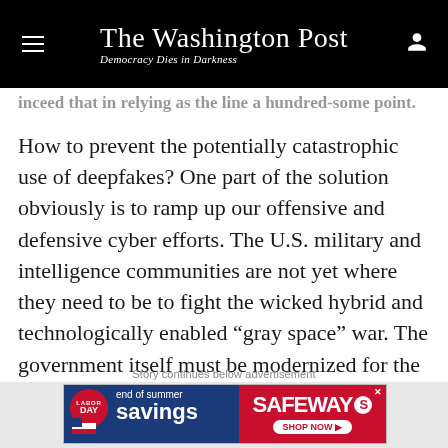The Washington Post — Democracy Dies in Darkness
…inceed that in relying as the line a hundred-some point.
How to prevent the potentially catastrophic use of deepfakes? One part of the solution obviously is to ramp up our offensive and defensive cyber efforts. The U.S. military and intelligence communities are not yet where they need to be to fight the wicked hybrid and technologically enabled “gray space” war. The government itself must be modernized for the digital age in a host of ways.
Story continues below advertisement
[Figure (infographic): Safeway Labor Day end of summer savings advertisement banner]